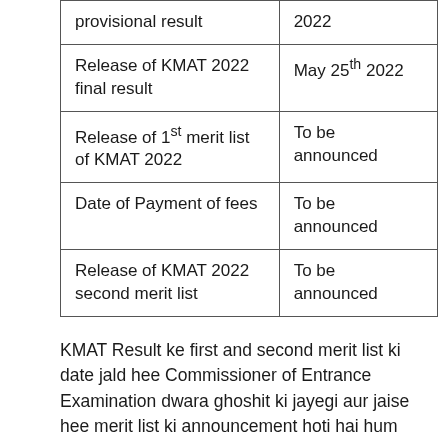| Event | Date |
| --- | --- |
| provisional result | 2022 |
| Release of KMAT 2022 final result | May 25th 2022 |
| Release of 1st merit list of KMAT 2022 | To be announced |
| Date of Payment of fees | To be announced |
| Release of KMAT 2022 second merit list | To be announced |
KMAT Result ke first and second merit list ki date jald hee Commissioner of Entrance Examination dwara ghoshit ki jayegi aur jaise hee merit list ki announcement hoti hai hum